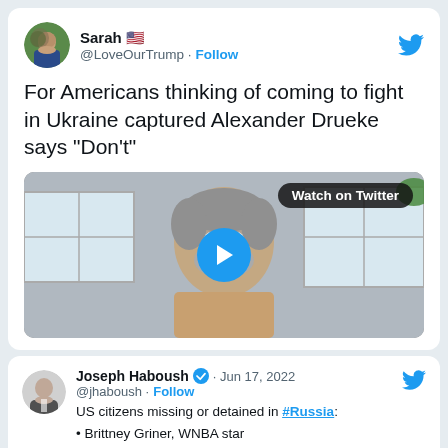[Figure (screenshot): Twitter/X post by Sarah @LoveOurTump with US flag emoji, Follow button, tweet text about Alexander Drueke, and an embedded video thumbnail with Watch on Twitter badge and play button]
For Americans thinking of coming to fight in Ukraine captured Alexander Drueke says “Don’t”
[Figure (screenshot): Embedded quoted tweet by Joseph Haboush @jhaboush verified, Jun 17 2022, listing US citizens missing or detained in #Russia: Brittney Griner WNBA star, Paul Whelan former US Marine, Marc Fogel former US diplomat]